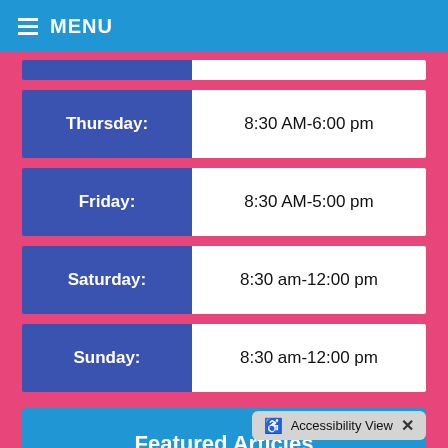≡ MENU
| Day | Hours |
| --- | --- |
| Thursday: | 8:30 AM-6:00 pm |
| Friday: | 8:30 AM-5:00 pm |
| Saturday: | 8:30 am-12:00 pm |
| Sunday: | 8:30 am-12:00 pm |
Featured Articles
Testimonials
Accessibility View